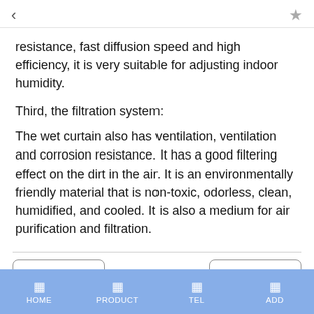< ☆
resistance, fast diffusion speed and high efficiency, it is very suitable for adjusting indoor humidity.
Third, the filtration system:
The wet curtain also has ventilation, ventilation and corrosion resistance. It has a good filtering effect on the dirt in the air. It is an environmentally friendly material that is non-toxic, odorless, clean, humidified, and cooled. It is also a medium for air purification and filtration.
Last | Next | HOME | PRODUCT | TEL | ADD